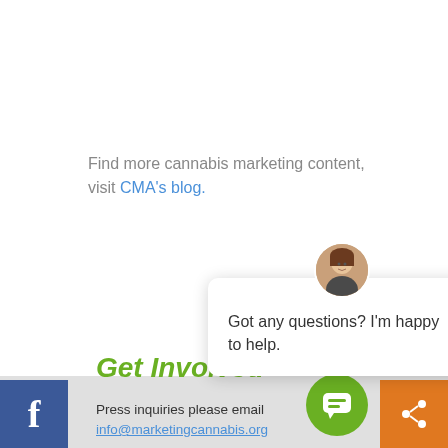Find more cannabis marketing content, visit CMA's blog.
[Figure (screenshot): Chat widget popup with avatar of a woman, close button, and message: Got any questions? I'm happy to help.]
Get Involved
Press inquiries please email info@marketingcannabis.org
[Figure (logo): Facebook button (blue square with white 'f') at bottom left, green circular chat bubble button, orange share button at bottom right]